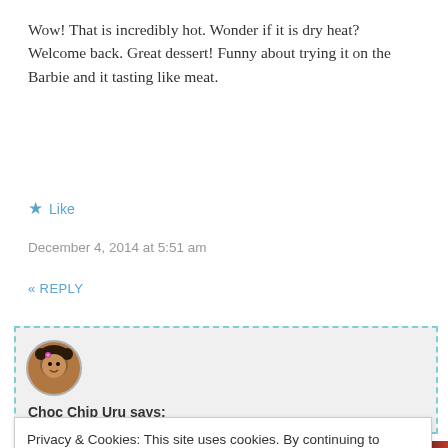Wow! That is incredibly hot. Wonder if it is dry heat? Welcome back. Great dessert! Funny about trying it on the Barbie and it tasting like meat.
★ Like
December 4, 2014 at 5:51 am
« REPLY
[Figure (illustration): Avatar image of a cartoon character (Choc Chip Uru) in a dashed-border comment box with gray background]
Choc Chip Uru says:
Privacy & Cookies: This site uses cookies. By continuing to use this website, you agree to their use.
To find out more, including how to control cookies, see here:
Cookie Policy
Close and accept